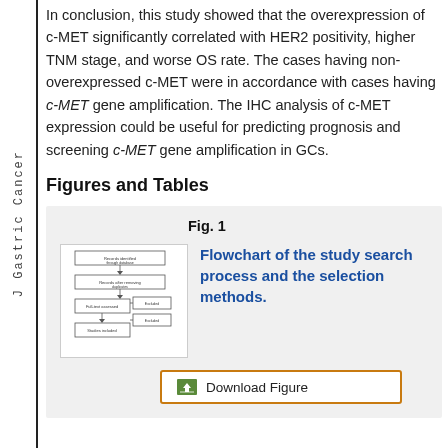In conclusion, this study showed that the overexpression of c-MET significantly correlated with HER2 positivity, higher TNM stage, and worse OS rate. The cases having non-overexpressed c-MET were in accordance with cases having c-MET gene amplification. The IHC analysis of c-MET expression could be useful for predicting prognosis and screening c-MET gene amplification in GCs.
Figures and Tables
[Figure (flowchart): Flowchart of the study search process and the selection methods. Shows records identified through database, records after removing duplicates, full-text assessed, and studies included, with exclusion boxes branching to the right.]